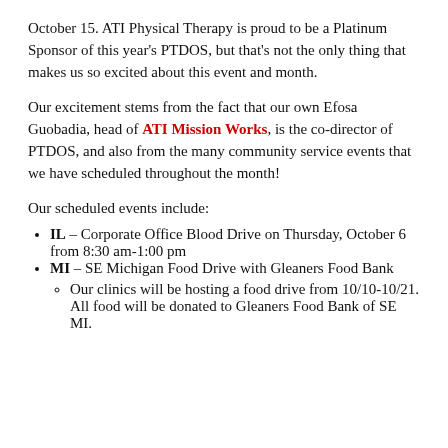October 15. ATI Physical Therapy is proud to be a Platinum Sponsor of this year's PTDOS, but that's not the only thing that makes us so excited about this event and month.
Our excitement stems from the fact that our own Efosa Guobadia, head of ATI Mission Works, is the co-director of PTDOS, and also from the many community service events that we have scheduled throughout the month!
Our scheduled events include:
IL – Corporate Office Blood Drive on Thursday, October 6 from 8:30 am-1:00 pm
MI – SE Michigan Food Drive with Gleaners Food Bank
Our clinics will be hosting a food drive from 10/10-10/21. All food will be donated to Gleaners Food Bank of SE MI.